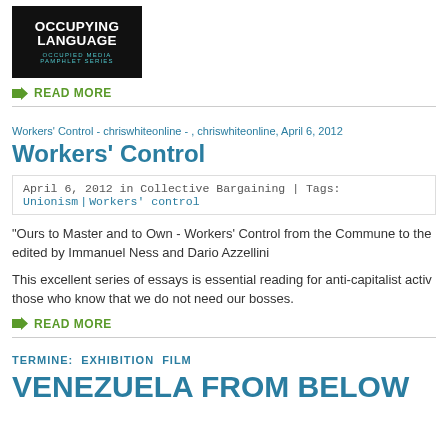[Figure (illustration): Book cover for 'Occupying Language - Occupied Media Pamphlet Series' with dark background and teal subtitle text]
READ MORE
Workers' Control - chriswhiteonline - , chriswhiteonline, April 6, 2012
Workers' Control
April 6, 2012 in Collective Bargaining | Tags: Unionism | Workers' control
“Ours to Master and to Own - Workers’ Control from the Commune to the edited by Immanuel Ness and Dario Azzellini
This excellent series of essays is essential reading for anti-capitalist activ those who know that we do not need our bosses.
READ MORE
TERMINE: EXHIBITION FILM
VENEZUELA FROM BELOW